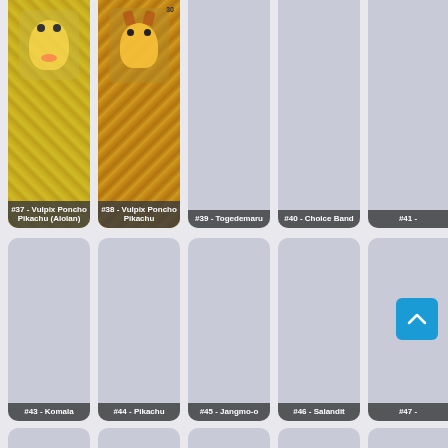[Figure (screenshot): Grid of Pokemon trading cards numbered #37 through #53+, showing card thumbnails with labels. Cards #37 (Vulpix Poncho Pikachu Alolan) and #38 (Vulpix Poncho Pikachu) have visible card art. Others show placeholder gray cards. Cards visible: #37, #38, #39 Togedemaru, #40 Choice Band, #41 (partial), #43 Komala, #44 Pikachu, #45 Jangmo-o, #46 Salandit, #47 (partial), #49 Rowlet, #50 Litten, #51 Popplio, #52 Alolan Vulpix, #53 (partial), plus bottom row partial cards. A blue scroll-to-top button appears at bottom right.]